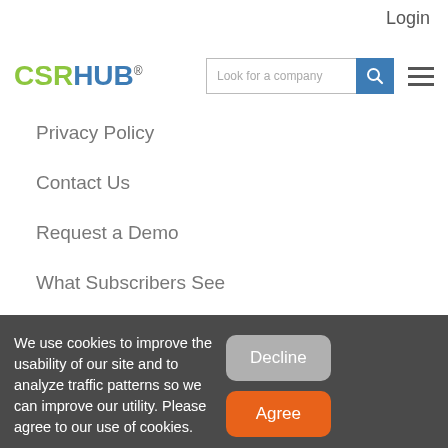Login
[Figure (logo): CSRHUB logo with search bar and hamburger menu]
Privacy Policy
Contact Us
Request a Demo
What Subscribers See
We use cookies to improve the usability of our site and to analyze traffic patterns so we can improve our utility. Please agree to our use of cookies.